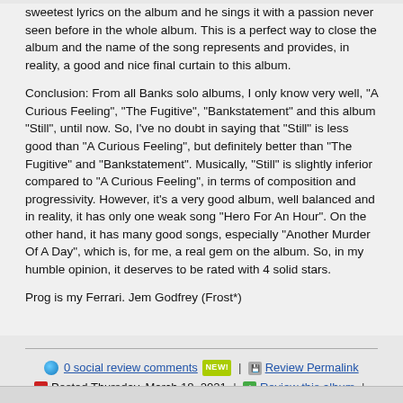sweetest lyrics on the album and he sings it with a passion never seen before in the whole album. This is a perfect way to close the album and the name of the song represents and provides, in reality, a good and nice final curtain to this album.
Conclusion: From all Banks solo albums, I only know very well, "A Curious Feeling", "The Fugitive", "Bankstatement" and this album "Still", until now. So, I've no doubt in saying that "Still" is less good than "A Curious Feeling", but definitely better than "The Fugitive" and "Bankstatement". Musically, "Still" is slightly inferior compared to "A Curious Feeling", in terms of composition and progressivity. However, it's a very good album, well balanced and in reality, it has only one weak song "Hero For An Hour". On the other hand, it has many good songs, especially "Another Murder Of A Day", which is, for me, a real gem on the album. So, in my humble opinion, it deserves to be rated with 4 solid stars.
Prog is my Ferrari. Jem Godfrey (Frost*)
0 social review comments NEW! | Review Permalink | Posted Thursday, March 18, 2021 | Review this album | Report (Review #2526128)